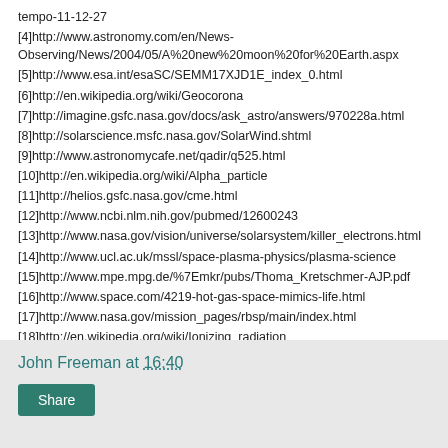tempo-11-12-27
[4]http://www.astronomy.com/en/News-Observing/News/2004/05/A%20new%20moon%20for%20Earth.aspx
[5]http://www.esa.int/esaSC/SEMM17XJD1E_index_0.html
[6]http://en.wikipedia.org/wiki/Geocorona
[7]http://imagine.gsfc.nasa.gov/docs/ask_astro/answers/970228a.html
[8]http://solarscience.msfc.nasa.gov/SolarWind.shtml
[9]http://www.astronomycafe.net/qadir/q525.html
[10]http://en.wikipedia.org/wiki/Alpha_particle
[11]http://helios.gsfc.nasa.gov/cme.html
[12]http://www.ncbi.nlm.nih.gov/pubmed/12600243
[13]http://www.nasa.gov/vision/universe/solarsystem/killer_electrons.html
[14]http://www.ucl.ac.uk/mssl/space-plasma-physics/plasma-science
[15]http://www.mpe.mpg.de/%7Emkr/pubs/Thoma_Kretschmer-AJP.pdf
[16]http://www.space.com/4219-hot-gas-space-mimics-life.html
[17]http://www.nasa.gov/mission_pages/rbsp/main/index.html
[18]http://en.wikipedia.org/wiki/Ionizing_radiation
John Freeman at 16:40 Share